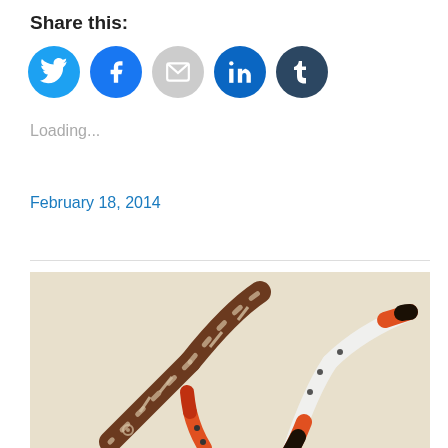Share this:
[Figure (infographic): Social sharing buttons: Twitter (blue bird), Facebook (blue f), Email (grey envelope), LinkedIn (dark blue in), Tumblr (dark navy t)]
Loading...
February 18, 2014
[Figure (photo): Photo of decorated boomerangs on a light beige background. Left boomerang has brown and cream Aboriginal dot/line patterns. Right boomerang is white with orange-red and dark gradient tips.]